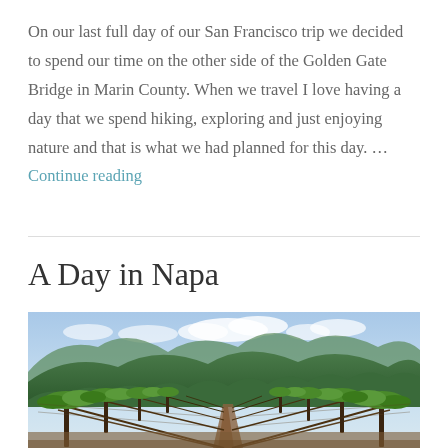On our last full day of our San Francisco trip we decided to spend our time on the other side of the Golden Gate Bridge in Marin County. When we travel I love having a day that we spend hiking, exploring and just enjoying nature and that is what we had planned for this day. … Continue reading
A Day in Napa
[Figure (photo): A vineyard with rows of grapevines leading to mountains in the background under a partly cloudy sky. Lush green trees and hills visible behind the vines.]